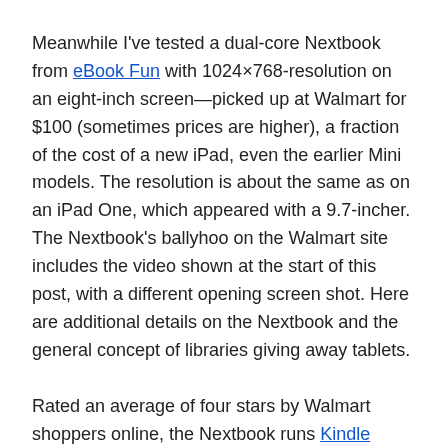Meanwhile I've tested a dual-core Nextbook from eBook Fun with 1024×768-resolution on an eight-inch screen—picked up at Walmart for $100 (sometimes prices are higher), a fraction of the cost of a new iPad, even the earlier Mini models. The resolution is about the same as on an iPad One, which appeared with a 9.7-incher. The Nextbook's ballyhoo on the Walmart site includes the video shown at the start of this post, with a different opening screen shot. Here are additional details on the Nextbook and the general concept of libraries giving away tablets.
Rated an average of four stars by Walmart shoppers online, the Nextbook runs Kindle software and the included Nook app well enough for most people, and to my surprise, I can even read from images of the paper editions of Google Play e-books and move around without much delay while using the slider.